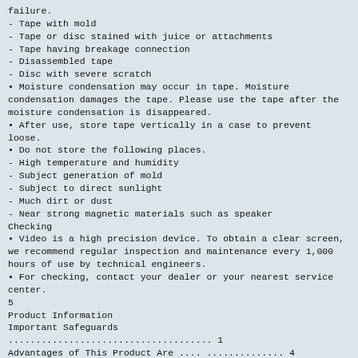failure.
- Tape with mold
- Tape or disc stained with juice or attachments
- Tape having breakage connection
- Disassembled tape
- Disc with severe scratch
• Moisture condensation may occur in tape. Moisture condensation damages the tape. Please use the tape after the moisture condensation is disappeared.
• After use, store tape vertically in a case to prevent
loose.
• Do not store the following places.
- High temperature and humidity
- Subject generation of mold
- Subject to direct sunlight
- Much dirt or dust
- Near strong magnetic materials such as speaker
Checking
• Video is a high precision device. To obtain a clear screen, we recommend regular inspection and maintenance every 1,000 hours of use by technical engineers.
• For checking, contact your dealer or your nearest service center.
5
Product Information
Important Safeguards
..................................... 1
Advantages of This Product Are .... .............. 4
Read Carefully before Using .......................
5